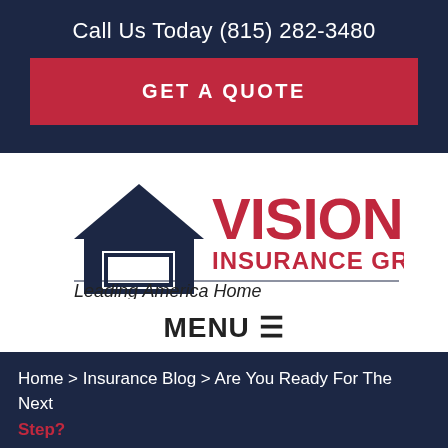Call Us Today (815) 282-3480
GET A QUOTE
[Figure (logo): Vision Insurance Group logo with house icon and tagline 'Leading America Home']
MENU≡
Home > Insurance Blog > Are You Ready For The Next Step?